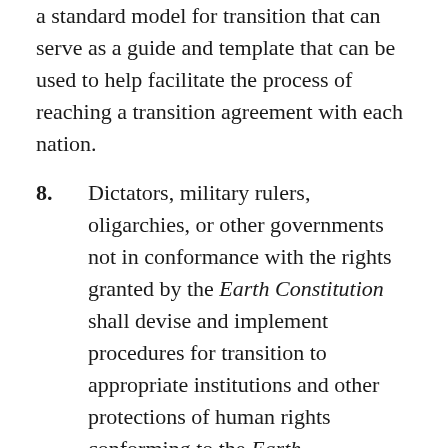a standard model for transition that can serve as a guide and template that can be used to help facilitate the process of reaching a transition agreement with each nation.
8. Dictators, military rulers, oligarchies, or other governments not in conformance with the rights granted by the Earth Constitution shall devise and implement procedures for transition to appropriate institutions and other protections of human rights conforming to the Earth Constitution with reasonable speed as determined by agreement with the Transition Council.
8.1. Dictators, military rulers, oligarchies, or other governments not in conformance with the Earth Constitution do not have to give up